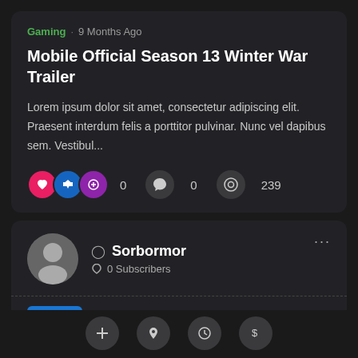Gaming · 9 Months Ago
Mobile Official Season 13 Winter War Trailer
Lorem ipsum dolor sit amet, consectetur adipiscing elit. Praesent interdum felis a porttitor pulvinar. Nunc vel dapibus sem. Vestibul...
0   0   239
Sorbormor
0 Subscribers
#40